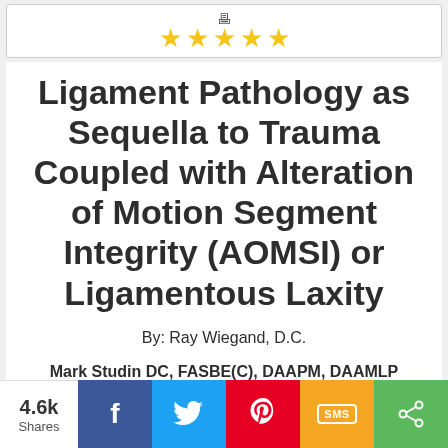[Figure (other): Star rating bar with 5 gold stars and a monitor/screen icon above]
Ligament Pathology as Sequella to Trauma Coupled with Alteration of Motion Segment Integrity (AOMSI) or Ligamentous Laxity
By: Ray Wiegand, D.C.
Mark Studin DC, FASBE(C), DAAPM, DAAMLP
A good read to understanding alteration of
4.6k Shares